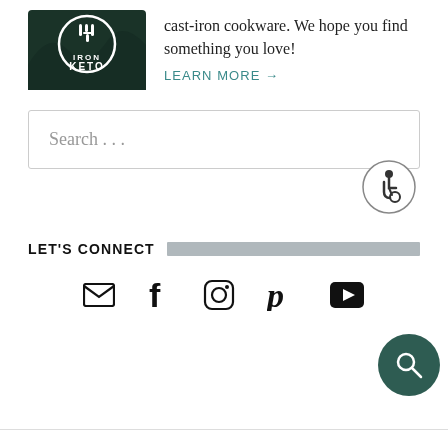[Figure (logo): Iron Keto circular logo with dark green background]
cast-iron cookware. We hope you find something you love!
LEARN MORE →
Search . . .
[Figure (illustration): Accessibility wheelchair user icon in circular border]
LET'S CONNECT
[Figure (infographic): Social media icons: email envelope, Facebook f, Instagram camera, Pinterest P, YouTube play button]
[Figure (illustration): Dark teal circular search button with magnifying glass icon]